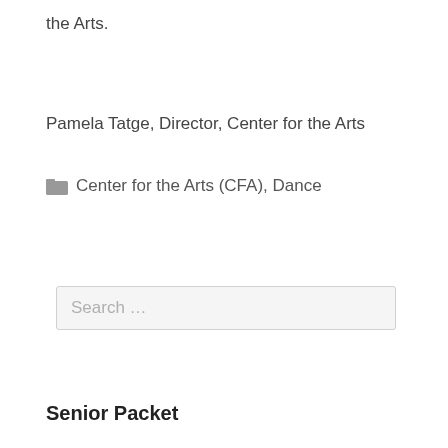the Arts.
Pamela Tatge, Director, Center for the Arts
Center for the Arts (CFA), Dance
Search …
Senior Packet